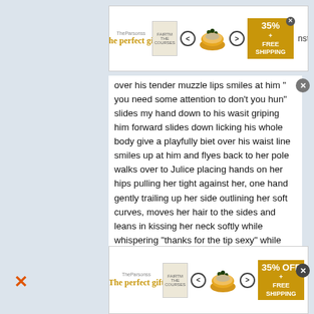[Figure (screenshot): Top advertisement banner for 'The perfect gift' showing a cookbook, navigation arrows, a pot of food image, and a 35% OFF FREE SHIPPING badge]
over his tender muzzle lips smiles at him " you need some attention to don't you hun" slides my hand down to his wasit griping him forward slides down licking his whole body give a playfully biet over his waist line smiles up at him and flyes back to her pole walks over to Julice placing hands on her hips pulling her tight against her, one hand gently trailing up her side outlining her soft curves, moves her hair to the sides and leans in kissing her neck softly while whispering "thanks for the tip sexy" while her other hand slides around her waist and grips her ass tight hops off her pole floats across the stage around Lizzy, nibbleing her sweet tender ears tugs it playfully whraping my leg around her sweet tender wasit pulls her closer "mmmm rawr.." trailing my nail around
[Figure (screenshot): Bottom advertisement banner for 'The perfect gift' showing a cookbook, navigation arrows, a pot of food image, and a 35% OFF FREE SHIPPING badge]